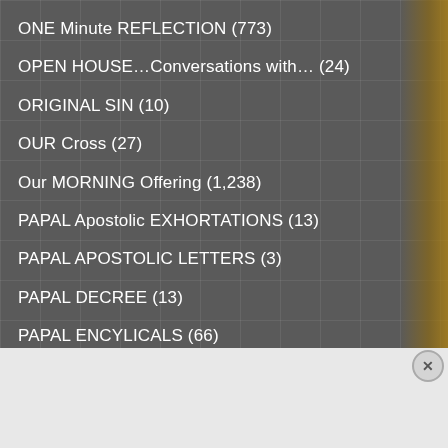ONE Minute REFLECTION (773)
OPEN HOUSE…Conversations with… (24)
ORIGINAL SIN (10)
OUR Cross (27)
Our MORNING Offering (1,238)
PAPAL Apostolic EXHORTATIONS (13)
PAPAL APOSTOLIC LETTERS (3)
PAPAL DECREE (13)
PAPAL ENCYLICALS (66)
PAPAL HOMILIES (215)
PAPAL MESSAGES (63)
Advertisements
[Figure (screenshot): Advertisement banner: STAY WHERE IT ALL STARTED - Golden Gate hotel booking ad with Book Now button]